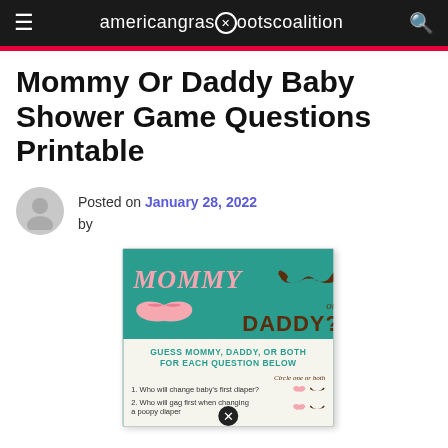americangrasrootscoalition
Mommy Or Daddy Baby Shower Game Questions Printable
Posted on January 28, 2022 by
[Figure (illustration): Baby shower game card with teal background showing MOMMY or DADDY? text with lips and mustache graphics, and questions below listing who will change baby's first diaper, who will gag first when changing a poopy diaper]